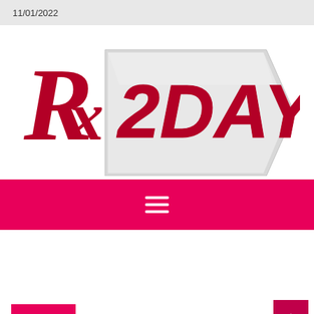11/01/2022
[Figure (logo): Rx 2DAY pharmacy logo with stylized Rx script symbol and arrow-shaped badge reading 2DAY in red text]
[Figure (screenshot): Pink/red navigation bar with hamburger menu icon (three horizontal white lines)]
Hotels
[Figure (other): Scroll-to-top button, dark pink square with upward chevron arrow]